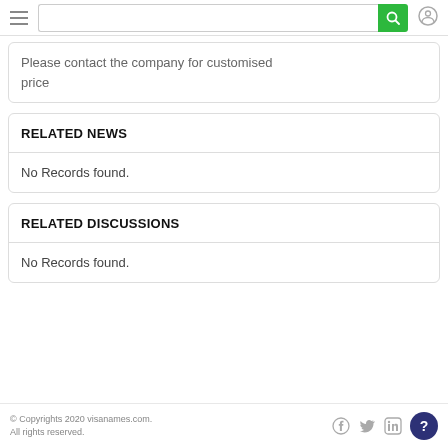Please contact the company for customised price
RELATED NEWS
No Records found.
RELATED DISCUSSIONS
No Records found.
© Copyrights 2020 visanames.com. All rights reserved.